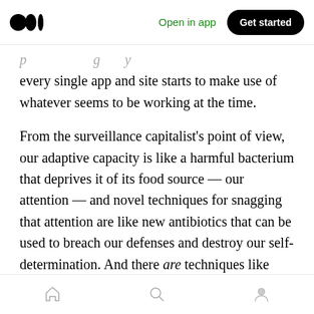Medium app header with logo, Open in app link, and Get started button
p…g y every single app and site starts to make use of whatever seems to be working at the time.
From the surveillance capitalist's point of view, our adaptive capacity is like a harmful bacterium that deprives it of its food source — our attention — and novel techniques for snagging that attention are like new antibiotics that can be used to breach our defenses and destroy our self-determination. And there are techniques like that. Who can forget the Great Zynga Epidemic, when all of our friends were caught in FarmVille's
Bottom navigation bar with home, search, and profile icons